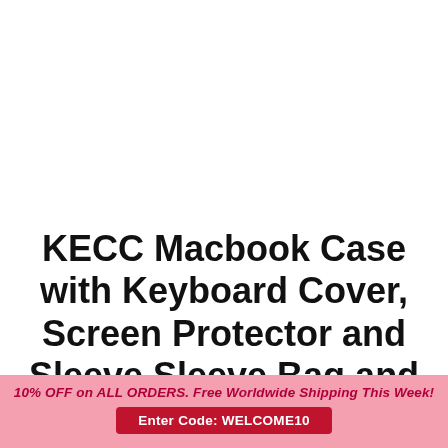KECC Macbook Case with Keyboard Cover, Screen Protector and Sleeve Sleeve Bag and Webcam Cover | Night Sky 4
10% OFF on ALL ORDERS. Free Worldwide Shipping This Week!
Enter Code: WELCOME10